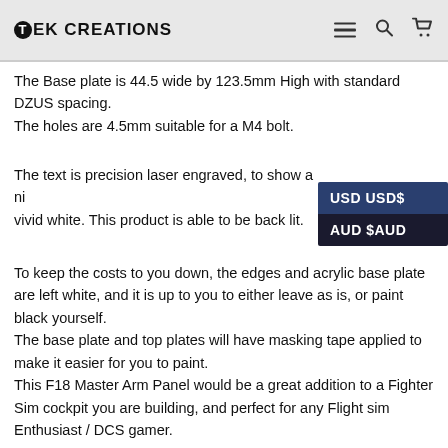TEK CREATIONS
The Base plate is 44.5 wide by 123.5mm High with standard DZUS spacing.
The holes are 4.5mm suitable for a M4 bolt.
The text is precision laser engraved, to show a ni... vivid white. This product is able to be back lit.
To keep the costs to you down, the edges and acrylic base plate are left white, and it is up to you to either leave as is, or paint black yourself.
The base plate and top plates will have masking tape applied to make it easier for you to paint.
This F18 Master Arm Panel would be a great addition to a Fighter Sim cockpit you are building, and perfect for any Flight sim Enthusiast / DCS gamer.